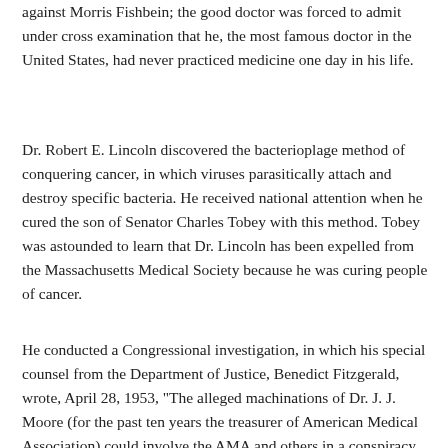against Morris Fishbein; the good doctor was forced to admit under cross examination that he, the most famous doctor in the United States, had never practiced medicine one day in his life.
Dr. Robert E. Lincoln discovered the bacterioplage method of conquering cancer, in which viruses parasitically attach and destroy specific bacteria. He received national attention when he cured the son of Senator Charles Tobey with this method. Tobey was astounded to learn that Dr. Lincoln has been expelled from the Massachusetts Medical Society because he was curing people of cancer.
He conducted a Congressional investigation, in which his special counsel from the Department of Justice, Benedict Fitzgerald, wrote, April 28, 1953, "The alleged machinations of Dr. J. J. Moore (for the past ten years the treasurer of American Medical Association) could involve the AMA and others in a conspiracy of alarming proportions . . . behind and over all this is the weirdest conglomeration of corrupt motives, intrigues, selfishness, jealousy, obstruction and conspiracy I have ever seen. My investigation to date should convince this Committee that a conspiracy does exist to stop the free flow and use of drugs in interstate commerce which